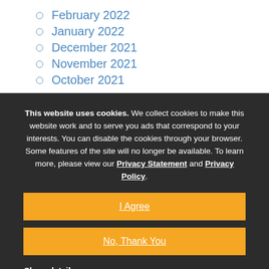February 2022
January 2022
December 2021
November 2021
October 2021
This website uses cookies. We collect cookies to make this website work and to serve you ads that correspond to your interests. You can disable the cookies through your browser. Some features of the site will no longer be available. To learn more, please view our Privacy Statement and Privacy Policy.
I Agree
No, Thank You
Show details